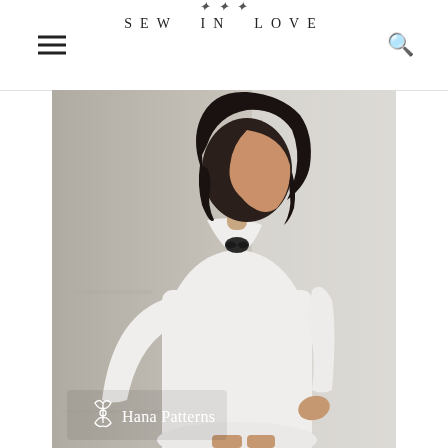SEW IN LOVE
[Figure (photo): Side profile of a woman with dark wavy hair wearing a loose white long-sleeve shirt dress, standing against a concrete/grey wall background. Photo is for Hana Patterns sewing pattern brand.]
Hana Patterns